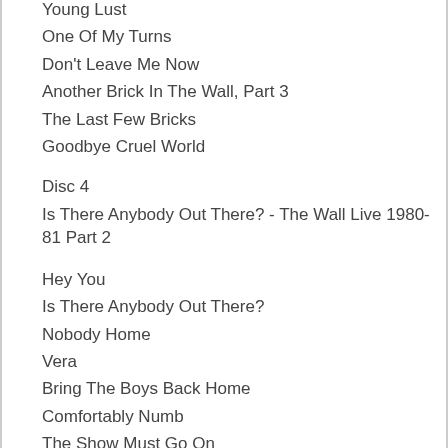Young Lust
One Of My Turns
Don't Leave Me Now
Another Brick In The Wall, Part 3
The Last Few Bricks
Goodbye Cruel World
Disc 4
Is There Anybody Out There? - The Wall Live 1980-81 Part 2
Hey You
Is There Anybody Out There?
Nobody Home
Vera
Bring The Boys Back Home
Comfortably Numb
The Show Must Go On
MC: ATMOS
In The Flesh
Run Like Hell
Waiting For The Worms
Stop
The Trial